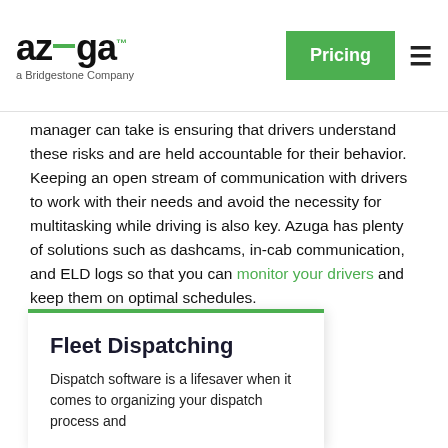azuga a Bridgestone Company | Pricing
manager can take is ensuring that drivers understand these risks and are held accountable for their behavior. Keeping an open stream of communication with drivers to work with their needs and avoid the necessity for multitasking while driving is also key. Azuga has plenty of solutions such as dashcams, in-cab communication, and ELD logs so that you can monitor your drivers and keep them on optimal schedules.
< Back to Glossary
Fleet Dispatching
Dispatch software is a lifesaver when it comes to organizing your dispatch process and